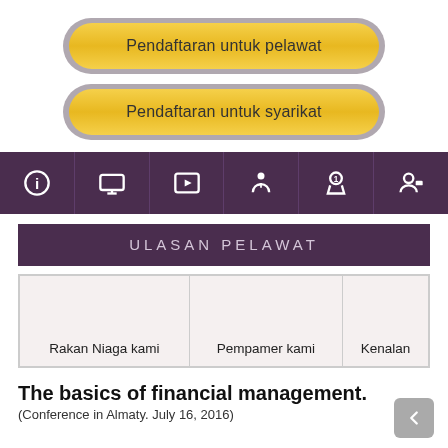[Figure (screenshot): Yellow rounded button with gray border reading 'Pendaftaran untuk pelawat']
[Figure (screenshot): Yellow rounded button with gray border reading 'Pendaftaran untuk syarikat']
[Figure (infographic): Purple navigation bar with 6 white icons: info, display/monitor, film strip, speaker/presenter, medal/award, user profile]
ULASAN PELAWAT
| Rakan Niaga kami | Pempamer kami | Kenalan |
The basics of financial management.
(Conference in Almaty. July 16, 2016)